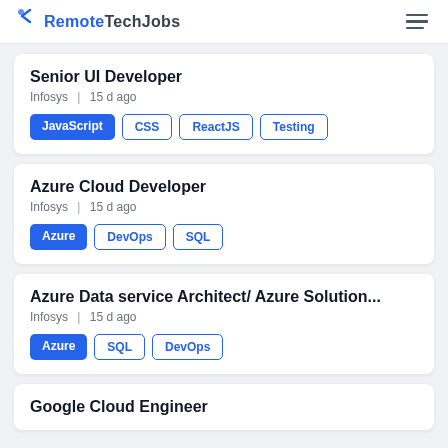RemoteTechJobs
Senior UI Developer
Infosys | 15 d ago
JavaScript CSS ReactJS Testing
Azure Cloud Developer
Infosys | 15 d ago
Azure DevOps SQL
Azure Data service Architect/ Azure Solution...
Infosys | 15 d ago
Azure SQL DevOps
Google Cloud Engineer